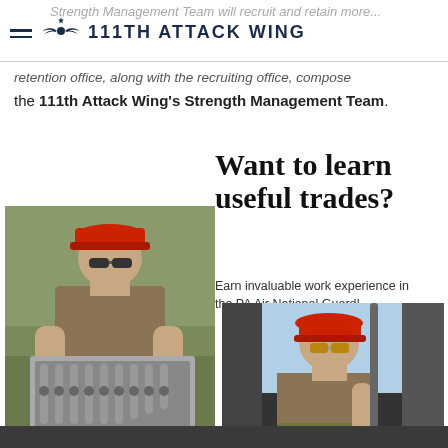111TH ATTACK WING
retention office, along with the recruiting office, compose the 111th Attack Wing's Strength Management Team.
[Figure (photo): Military airman in red cap and olive t-shirt handling metal tool panel/ratchet set outdoors]
Want to learn useful trades?
Earn invaluable work experience in the PA Air National Guard!
[Figure (photo): Military airman in red cap and olive t-shirt seated in heavy equipment vehicle cab]